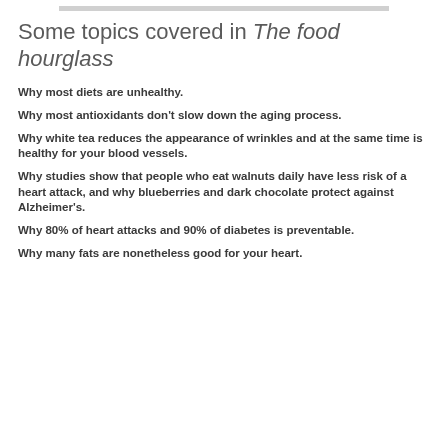Some topics covered in The food hourglass
Why most diets are unhealthy.
Why most antioxidants don't slow down the aging process.
Why white tea reduces the appearance of wrinkles and at the same time is healthy for your blood vessels.
Why studies show that people who eat walnuts daily have less risk of a heart attack, and why blueberries and dark chocolate protect against Alzheimer's.
Why 80% of heart attacks and 90% of diabetes is preventable.
Why many fats are nonetheless good for your heart.